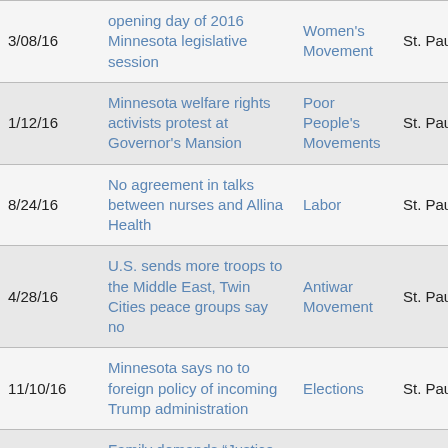| 3/08/16 | opening day of 2016 Minnesota legislative session | Women's Movement | St. Paul, MN |
| 1/12/16 | Minnesota welfare rights activists protest at Governor's Mansion | Poor People's Movements | St. Paul, MN |
| 8/24/16 | No agreement in talks between nurses and Allina Health | Labor | St. Paul, MN |
| 4/28/16 | U.S. sends more troops to the Middle East, Twin Cities peace groups say no | Antiwar Movement | St. Paul, MN |
| 11/10/16 | Minnesota says no to foreign policy of incoming Trump administration | Elections | St. Paul, MN |
| 1/10/16 | Family demands “Justice for Phil Quinn”, killed by St. Paul police | Police Brutality | St. Paul, MN |
|  | Protestors outside |  |  |